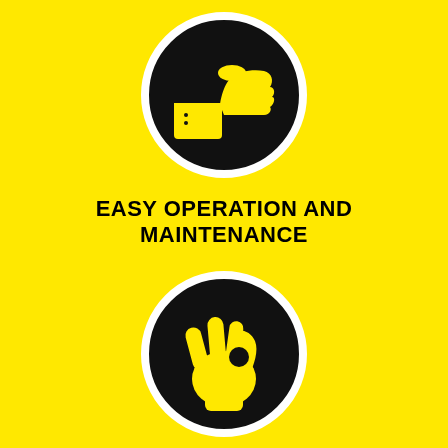[Figure (illustration): Black circle with white border on yellow background containing a yellow thumbs-up hand icon]
EASY OPERATION AND MAINTENANCE
[Figure (illustration): Black circle with white border on yellow background containing a yellow OK hand gesture icon]
HIGH RELIABILITY AND REDUCED MAINTENANCE